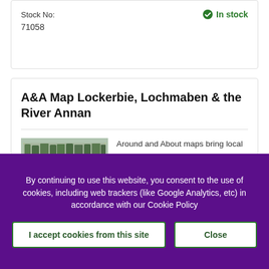Stock No: 71058
In stock
A&A Map Lockerbie, Lochmaben & the River Annan
[Figure (photo): Cover of Around & About Lockerbie map showing yellow background with bold black title text, subtitle Lochmaben & the River Annan, and small print about Ordnance Survey Explorer 322, The Yellow Walk Maps 1:16 000]
Around and About maps bring local mapping to a wider audience. They are very popular...
By continuing to use this website, you consent to the use of cookies, including web trackers (like Google Analytics, etc) in accordance with our Cookie Policy
I accept cookies from this site
Close